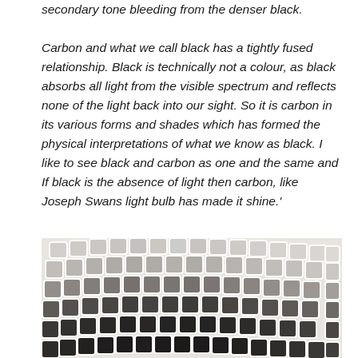secondary tone bleeding from the denser black.
Carbon and what we call black has a tightly fused relationship. Black is technically not a colour, as black absorbs all light from the visible spectrum and reflects none of the light back into our sight. So it is carbon in its various forms and shades which has formed the physical interpretations of what we know as black. I like to see black and carbon as one and the same and If black is the absence of light then carbon, like Joseph Swans light bulb has made it shine.'
[Figure (photo): A grid-like artwork or photograph showing rows of small square cells arranged in a curved arch formation, rendered in shades of grey and black, resembling a charcoal or graphite work on light paper.]